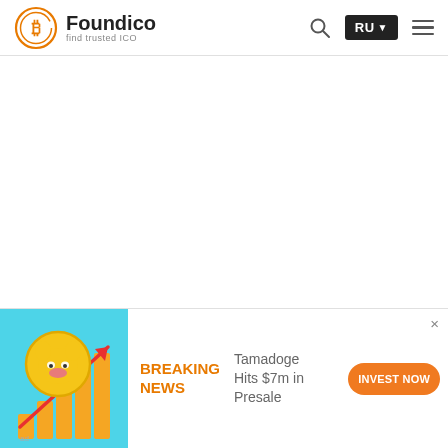Foundico – find trusted ICO
[Figure (screenshot): Large blank white content area of a website]
[Figure (illustration): Tamadoge coin advertisement banner with Shiba Inu dog coin image, bar chart with upward arrow on teal/blue background]
BREAKING NEWS
Tamadoge Hits $7m in Presale
INVEST NOW